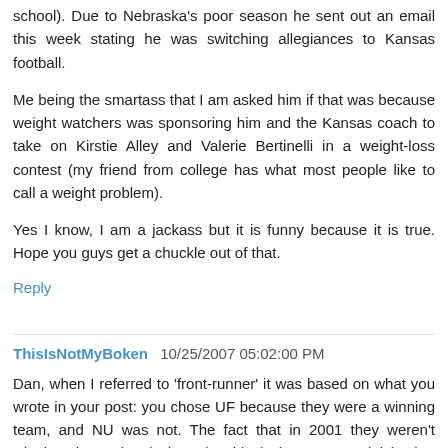school). Due to Nebraska's poor season he sent out an email this week stating he was switching allegiances to Kansas football.
Me being the smartass that I am asked him if that was because weight watchers was sponsoring him and the Kansas coach to take on Kirstie Alley and Valerie Bertinelli in a weight-loss contest (my friend from college has what most people like to call a weight problem).
Yes I know, I am a jackass but it is funny because it is true. Hope you guys get a chuckle out of that.
Reply
ThisIsNotMyBoken  10/25/2007 05:02:00 PM
Dan, when I referred to 'front-runner' it was based on what you wrote in your post: you chose UF because they were a winning team, and NU was not. The fact that in 2001 they weren't winning the national championship is inconsequential in that regard..